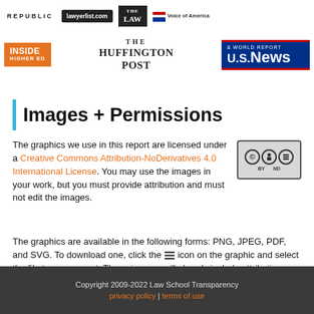[Figure (logo): Row of media logos: New Republic, Lawyerlist.com, The Law, Voice of America, Inside Higher Ed, The Huffington Post, US News & World Report]
Images + Permissions
The graphics we use in this report are licensed under a Creative Commons Attribution-NoDerivatives 4.0 International License. You may use the images in your work, but you must provide attribution and must not edit the images.
The graphics are available in the following forms: PNG, JPEG, PDF, and SVG. To download one, click the ≡ icon on the graphic and select the file type you want. These images will already include attribution.
Copyright 2009-2022 Law School Transparency | privacy policy | terms of use